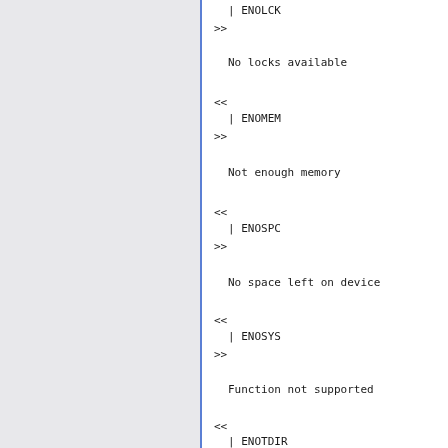| ENOLCK
>>

No locks available

<<
| ENOMEM
>>

Not enough memory

<<
| ENOSPC
>>

No space left on device

<<
| ENOSYS
>>

Function not supported

<<
| ENOTDIR
>>